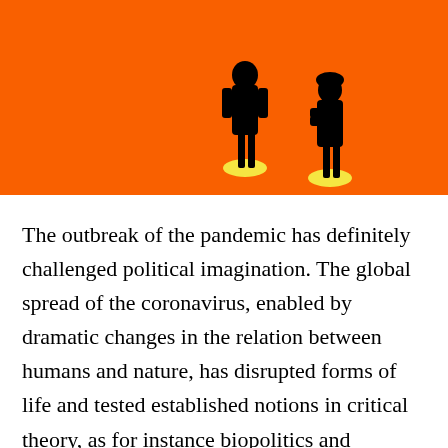[Figure (illustration): Orange background illustration showing two black silhouettes of people standing apart from each other, each standing on a small yellow circle, suggesting social distancing.]
The outbreak of the pandemic has definitely challenged political imagination. The global spread of the coronavirus, enabled by dramatic changes in the relation between humans and nature, has disrupted forms of life and tested established notions in critical theory, as for instance biopolitics and globalization. The deep social and economic crisis brought about by Covid-19 has exacerbated